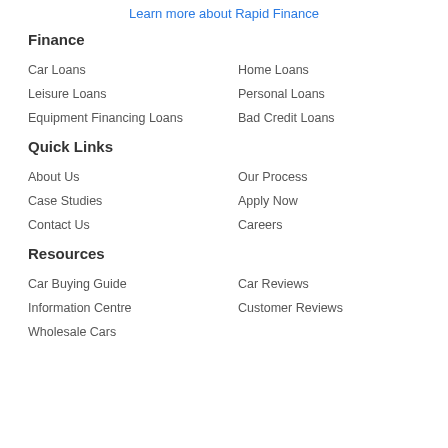Learn more about Rapid Finance
Finance
Car Loans
Home Loans
Leisure Loans
Personal Loans
Equipment Financing Loans
Bad Credit Loans
Quick Links
About Us
Our Process
Case Studies
Apply Now
Contact Us
Careers
Resources
Car Buying Guide
Car Reviews
Information Centre
Customer Reviews
Wholesale Cars